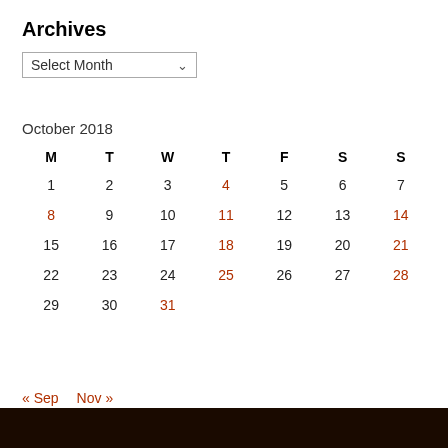Archives
Select Month
October 2018
| M | T | W | T | F | S | S |
| --- | --- | --- | --- | --- | --- | --- |
| 1 | 2 | 3 | 4 | 5 | 6 | 7 |
| 8 | 9 | 10 | 11 | 12 | 13 | 14 |
| 15 | 16 | 17 | 18 | 19 | 20 | 21 |
| 22 | 23 | 24 | 25 | 26 | 27 | 28 |
| 29 | 30 | 31 |  |  |  |  |
« Sep    Nov »